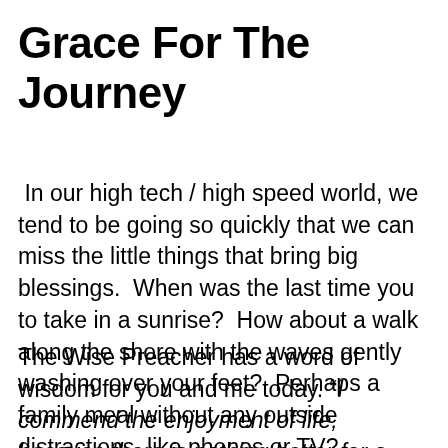Grace For The Journey
In our high tech / high speed world, we tend to be going so quickly that we can miss the little things that bring big blessings.  When was the last time you to take in a sunrise?  How about a walk along the shore with the waves gently washing over your feet?  Perhaps a family meal without any outside distractions, like phones or TV?
The Wise Preacher has a word of wisdom for you and me today. “I commend the enjoyment of life, because there is nothing better for a person under the sun than to eat and drink and be glad. Then joy will accompany them in their toil all the days of the life God has given them